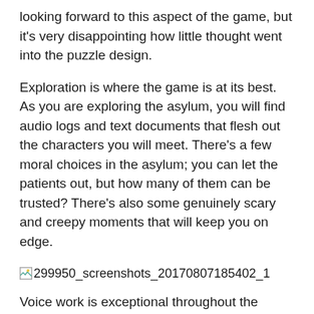looking forward to this aspect of the game, but it's very disappointing how little thought went into the puzzle design.
Exploration is where the game is at its best. As you are exploring the asylum, you will find audio logs and text documents that flesh out the characters you will meet. There's a few moral choices in the asylum; you can let the patients out, but how many of them can be trusted? There's also some genuinely scary and creepy moments that will keep you on edge.
[Figure (screenshot): Broken image placeholder with filename: 299950_screenshots_20170807185402_1]
Voice work is exceptional throughout the game and helps to sell the emotional story. The characters feel believable and relatable. The later part of the game has some really dramatic moments where the chemistry between Red and Black (who oddly sounds a bit like Sean Bean) really